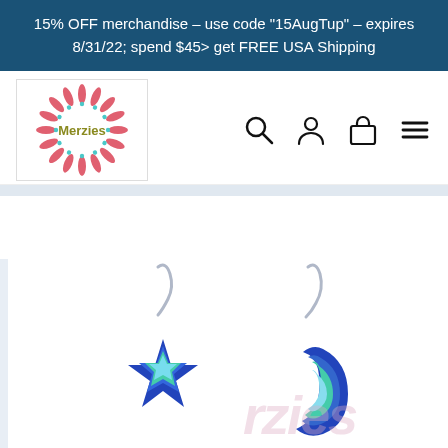15% OFF merchandise - use code "15AugTup" - expires 8/31/22; spend $45> get FREE USA Shipping
[Figure (logo): Merzies brand logo with pink starburst petals and turquoise dots surrounding the brand name in olive/gold text]
[Figure (other): Navigation icons: search magnifier, user/person icon, shopping bag icon, hamburger menu icon]
[Figure (photo): Product photo of two enamel earrings on a light blue background. Left earring is a star shape with blue outline and blue-to-green enamel fill. Right earring is a crescent moon shape with blue outline and blue-to-green enamel fill. Both have silver wire hooks. Merzies watermark visible in lower right.]